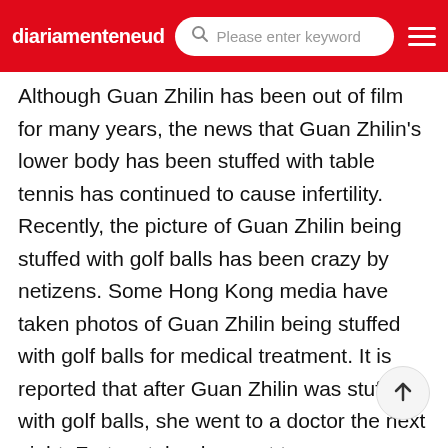diariamenteneud | Please enter keyword
Although Guan Zhilin has been out of film for many years, the news that Guan Zhilin's lower body has been stuffed with table tennis has continued to cause infertility. Recently, the picture of Guan Zhilin being stuffed with golf balls has been crazy by netizens. Some Hong Kong media have taken photos of Guan Zhilin being stuffed with golf balls for medical treatment. It is reported that after Guan Zhilin was stuffed with golf balls, she went to a doctor the next night. Fortunately, she went to a doctorWhich actress was stuffed with golf balls
Liuluanxiong is also very generous about guanzhilin. He never shows mercy on famous cars and luxury houses. However, liuluanxiong's "hobby" is very abnormal. The "G" incident made guanzhilin the queen of the topic. It is said that she was stuffed with two golf ballsHuo Jianhua didn't mention the past. She put two golf balls for 20million yuan. What did